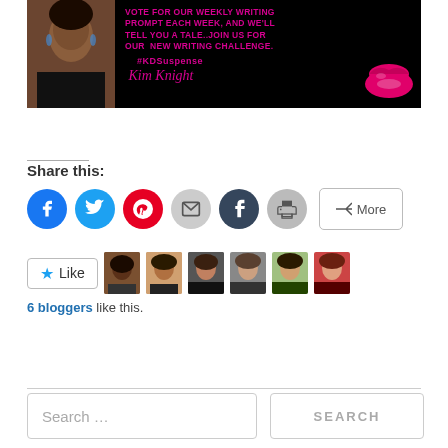[Figure (photo): Blog banner with black background showing a Black woman on the left, pink text 'Vote for our weekly writing prompt each week, and we'll tell you a tale. Join us for our new writing challenge. #KDSuspense' and 'Kim Knight' in cursive, with a pink lips graphic on the right]
Share this:
[Figure (infographic): Row of social share icon buttons: Facebook (blue circle), Twitter (light blue circle), Pinterest (red circle), Email (grey circle), Tumblr (dark navy circle), Print (grey circle), and a More button with share icon]
[Figure (infographic): WordPress Like button with star icon and 6 blogger avatar photos]
6 bloggers like this.
Search …
SEARCH